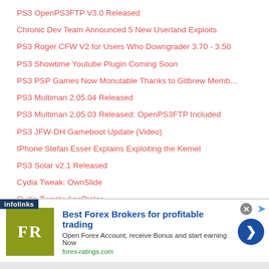PS3 OpenPS3FTP V3.0 Released
Chronic Dev Team Announced 5 New Userland Exploits
PS3 Roger CFW V2 for Users Who Downgrader 3.70 - 3.50
PS3 Showtime Youtube Plugin Coming Soon
PS3 PSP Games Now Monutable Thanks to Gitbrew Memb...
PS3 Multiman 2.05.04 Released
PS3 Multiman 2.05.03 Released: OpenPS3FTP Included
PS3 JFW-DH Gameboot Update (Video)
IPhone Stefan Esser Explains Exploiting the Kernel
PS3 Solar v2.1 Released
Cydia Tweak: OwnSlide
Cydia Tweak: AppDialer
Sony Updates Terms & Sevices
[Figure (screenshot): Advertisement banner from forex-ratings.com showing 'Best Forex Brokers for profitable trading' with FR logo and infolinks label]